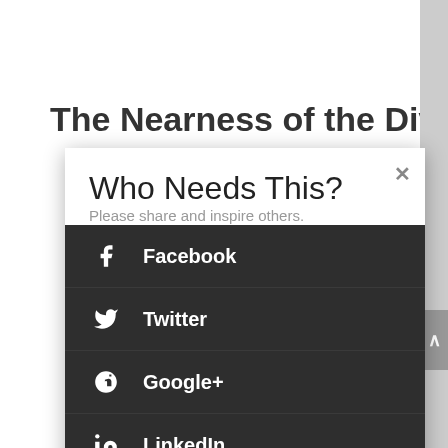The Nearness of the Divine
Who Needs This?
Please share and inspire others.
Facebook
Twitter
Google+
LinkedIn
Like